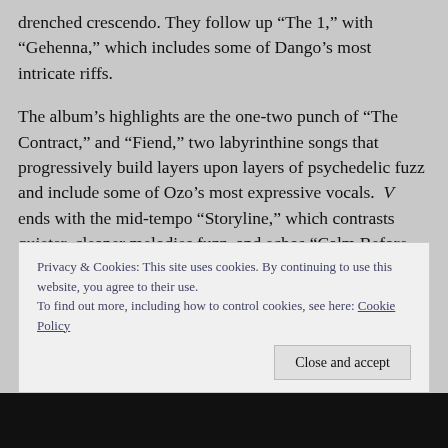drenched crescendo. They follow up “The 1,” with “Gehenna,” which includes some of Dango’s most intricate riffs.
The album’s highlights are the one-two punch of “The Contract,” and “Fiend,” two labyrinthine songs that progressively build layers upon layers of psychedelic fuzz and include some of Ozo’s most expressive vocals. V ends with the mid-tempo “Storyline,” which contrasts quieter, cleaner melodies fuzz, and echos “Calm Before the Storm.”
Privacy & Cookies: This site uses cookies. By continuing to use this website, you agree to their use.
To find out more, including how to control cookies, see here: Cookie Policy
Close and accept